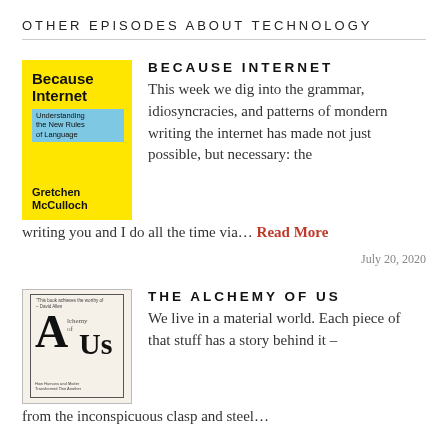OTHER EPISODES ABOUT TECHNOLOGY
[Figure (illustration): Book cover for 'Because Internet: Understanding the New Rules of Language' by Gretchen McCulloch. Yellow background with blue subtitle box.]
BECAUSE INTERNET
This week we dig into the grammar, idiosyncracies, and patterns of mondern writing the internet has made not just possible, but necessary: the writing you and I do all the time via… Read More
July 20, 2020
[Figure (illustration): Book cover for 'The Alchemy of Us' showing large stylized 'A' and 'Us' text on cream/beige background with border.]
THE ALCHEMY OF US
We live in a material world. Each piece of that stuff has a story behind it – from the inconspicuous clasp and steel…